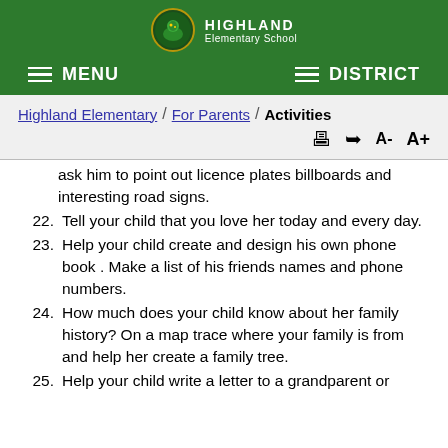HIGHLAND Elementary School
MENU  DISTRICT
Highland Elementary / For Parents / Activities
ask him to point out licence plates billboards and interesting road signs.
22. Tell your child that you love her today and every day.
23. Help your child create and design his own phone book . Make a list of his friends names and phone numbers.
24. How much does your child know about her family history? On a map trace where your family is from and help her create a family tree.
25. Help your child write a letter to a grandparent or